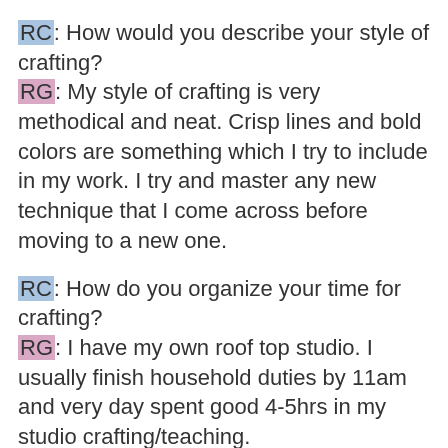RC: How would you describe your style of crafting?
RG: My style of crafting is very methodical and neat. Crisp lines and bold colors are something which I try to include in my work. I try and master any new technique that I come across before moving to a new one.
RC: How do you organize your time for crafting?
RG: I have my own roof top studio. I usually finish household duties by 11am and very day spent good 4-5hrs in my studio crafting/teaching.
RC: Tips for people who want to craft?
RG: My tip to all crafters and beginners is to not